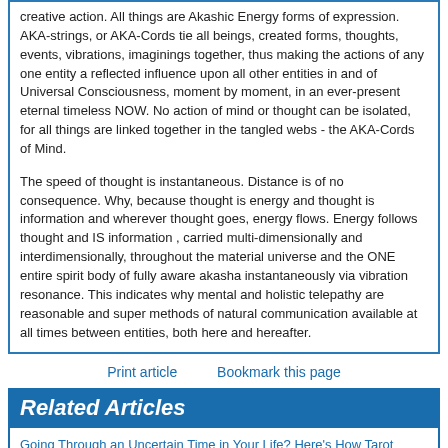creative action. All things are Akashic Energy forms of expression. AKA-strings, or AKA-Cords tie all beings, created forms, thoughts, events, vibrations, imaginings together, thus making the actions of any one entity a reflected influence upon all other entities in and of Universal Consciousness, moment by moment, in an ever-present eternal timeless NOW. No action of mind or thought can be isolated, for all things are linked together in the tangled webs - the AKA-Cords of Mind.
The speed of thought is instantaneous. Distance is of no consequence. Why, because thought is energy and thought is information and wherever thought goes, energy flows. Energy follows thought and IS information , carried multi-dimensionally and interdimensionally, throughout the material universe and the ONE entire spirit body of fully aware akasha instantaneously via vibration resonance. This indicates why mental and holistic telepathy are reasonable and super methods of natural communication available at all times between entities, both here and hereafter.
Print article    Bookmark this page
Related Articles
Going Through an Uncertain Time in Your Life? Here's How Tarot Reading Can Help You (Popularity: ): Let's admit it; we all have been in the situation where we find ourselves lost at one point in our lives. The twists and turn in our lives can often leave us confused and leave us feeling lost. The path which was once clear could become unclear, fuzzy, and changed. The tough times due to illness, a loss, and unexpected cost can impact our self-confidence and make us feel overwhelmed.If ...
UFOs, Jacques Vallee And The Parallel Universe (Popularity: ): Perhaps the world's leading UFO researcher is the French born Jacques Fabrice Vallee (1939- ). He holds degrees in mathematics and astrophysics from the